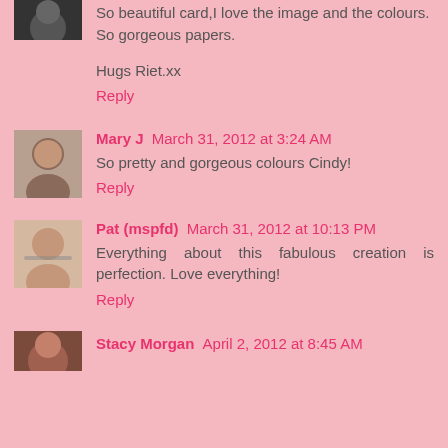[Figure (photo): Partial avatar photo of a person at the top of the page, cropped]
So beautiful card,I love the image and the colours. So gorgeous papers.

Hugs Riet.xx
Reply
[Figure (photo): Avatar photo of Mary J]
Mary J March 31, 2012 at 3:24 AM
So pretty and gorgeous colours Cindy!
Reply
[Figure (photo): Avatar photo of Pat (mspfd)]
Pat (mspfd) March 31, 2012 at 10:13 PM
Everything about this fabulous creation is perfection. Love everything!
Reply
[Figure (photo): Avatar photo of Stacy Morgan]
Stacy Morgan April 2, 2012 at 8:45 AM